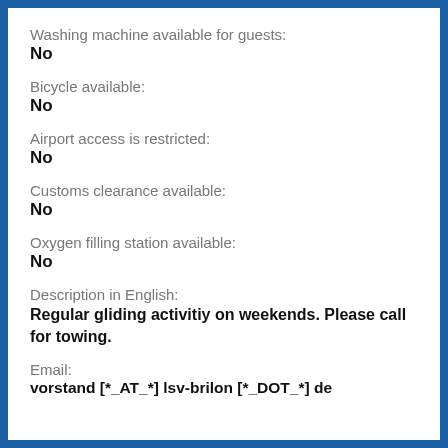Washing machine available for guests:
No
Bicycle available:
No
Airport access is restricted:
No
Customs clearance available:
No
Oxygen filling station available:
No
Description in English:
Regular gliding activitiy on weekends. Please call for towing.
Email:
vorstand [*_AT_*] lsv-brilon [*_DOT_*] de